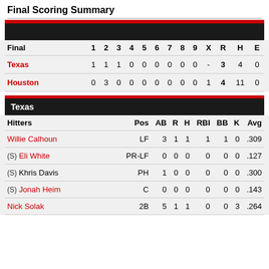Final Scoring Summary
| Final | 1 | 2 | 3 | 4 | 5 | 6 | 7 | 8 | 9 | X | R | H | E |
| --- | --- | --- | --- | --- | --- | --- | --- | --- | --- | --- | --- | --- | --- |
| Texas | 1 | 1 | 1 | 0 | 0 | 0 | 0 | 0 | 0 | - | 3 | 4 | 0 |
| Houston | 0 | 3 | 0 | 0 | 0 | 0 | 0 | 0 | 0 | 1 | 4 | 11 | 0 |
Texas
| Hitters | Pos | AB | R | H | RBI | BB | K | Avg |
| --- | --- | --- | --- | --- | --- | --- | --- | --- |
| Willie Calhoun | LF | 3 | 1 | 1 | 1 | 1 | 0 | .309 |
| (S) Eli White | PR-LF | 0 | 0 | 0 | 0 | 0 | 0 | .127 |
| (S) Khris Davis | PH | 1 | 0 | 0 | 0 | 0 | 0 | .300 |
| (S) Jonah Heim | C | 0 | 0 | 0 | 0 | 0 | 0 | .143 |
| Nick Solak | 2B | 5 | 1 | 1 | 0 | 0 | 3 | .264 |